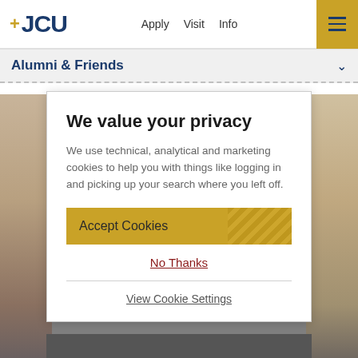[Figure (screenshot): JCU university website header with logo, navigation links (Apply, Visit, Info), and hamburger menu button on gold background]
Alumni & Friends
[Figure (photo): Background photo showing smiling people, partially visible on left and right sides behind the modal dialog]
We value your privacy
We use technical, analytical and marketing cookies to help you with things like logging in and picking up your search where you left off.
Accept Cookies
No Thanks
View Cookie Settings